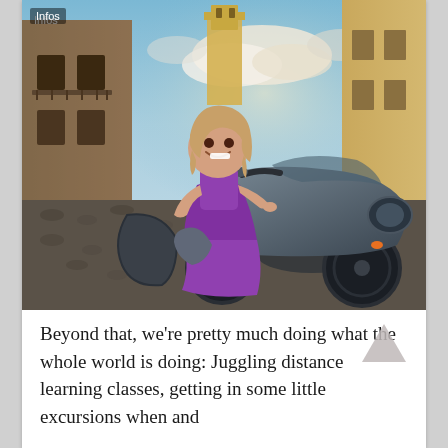[Figure (photo): A smiling young girl in a purple dress sitting on a large touring motorcycle parked on a cobblestone street in what appears to be a Latin American colonial town. Stone buildings and a yellow church tower are visible in the background. The motorcycle has travel stickers on its side. The word 'Infos' appears in the top-left corner of the image.]
Beyond that, we're pretty much doing what the whole world is doing: Juggling distance learning classes, getting in some little excursions when and